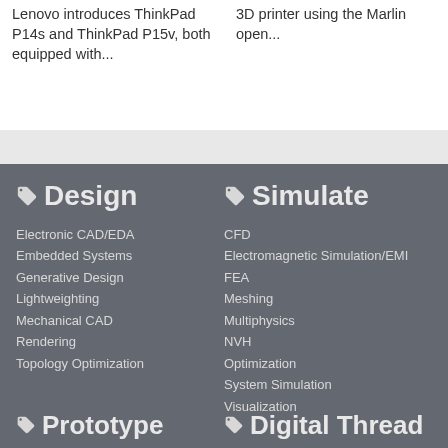Lenovo introduces ThinkPad P14s and ThinkPad P15v, both equipped with...
3D printer using the Marlin open...
Design
Electronic CAD/EDA
Embedded Systems
Generative Design
Lightweighting
Mechanical CAD
Rendering
Topology Optimization
Simulate
CFD
Electromagnetic Simulation/EMI
FEA
Meshing
Multiphysics
NVH
Optimization
System Simulation
Visualization
Prototype
Digital Thread